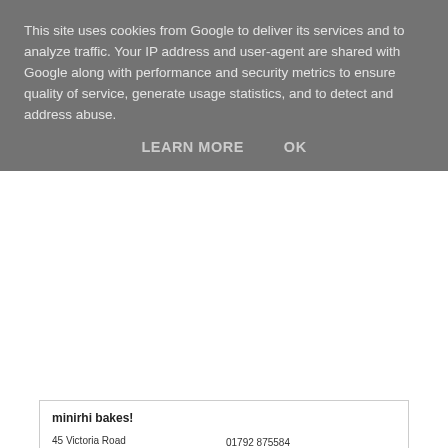This site uses cookies from Google to deliver its services and to analyze traffic. Your IP address and user-agent are shared with Google along with performance and security metrics to ensure quality of service, generate usage statistics, and to detect and address abuse.
LEARN MORE   OK
minirhi bakes!
45 Victoria Road
Waunarlwydd
Swansea
SA5 4SY
United Kingdom
01792 875584
http://www.minirhbakes.co.uk
[Figure (map): Google Maps showing location of minirhi bakes on Victoria Road, Waunarlwydd, Swansea. Map shows B4295/Swansea Rd as the main yellow road, with Victoria Rd running below. A red location pin marks the business. Labels include Caer-gynydd Rd, Heol Wm George, Carnaban Close. Map data credit: ©2011 Google - Map data ©2011 Tele Atlas.]
Email address: rhan@minirhbakes.co.uk